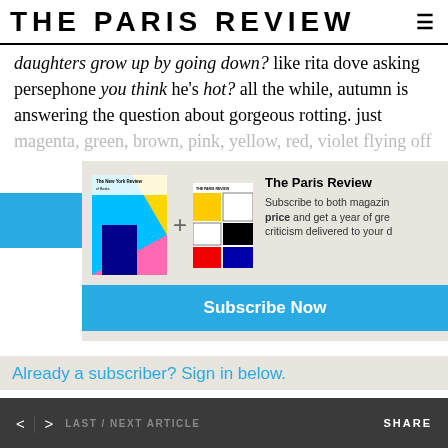THE PARIS REVIEW
daughters grow up by going down? like rita dove asking persephone you think he's hot? all the while, autumn is answering the question about gorgeous rotting. just magenta, green, brown, pink, yellow, red, violet flying off
[Figure (screenshot): Subscription modal overlay showing New York Review and Paris Review magazine covers with a '+' sign, text about subscribing to both magazines at a special price, and a blue 'Subscribe Now' button. Below the modal is a blue link 'Already a subscriber? Sign in below.']
< > LAST / NEXT ARTICLE   SHARE